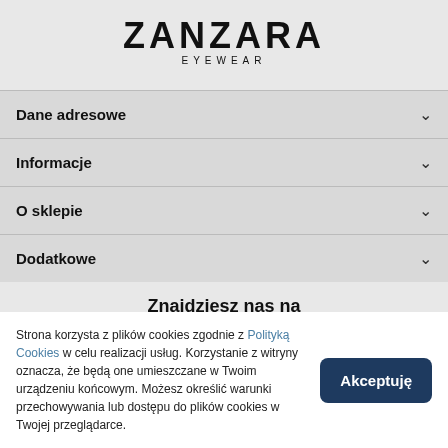[Figure (logo): ZANZARA EYEWEAR logo in bold black uppercase letters]
Dane adresowe
Informacje
O sklepie
Dodatkowe
Znajdziesz nas na
[Figure (illustration): Facebook and Instagram social media icons]
Strona korzysta z plików cookies zgodnie z Polityką Cookies w celu realizacji usług. Korzystanie z witryny oznacza, że będą one umieszczane w Twoim urządzeniu końcowym. Możesz określić warunki przechowywania lub dostępu do plików cookies w Twojej przeglądarce.